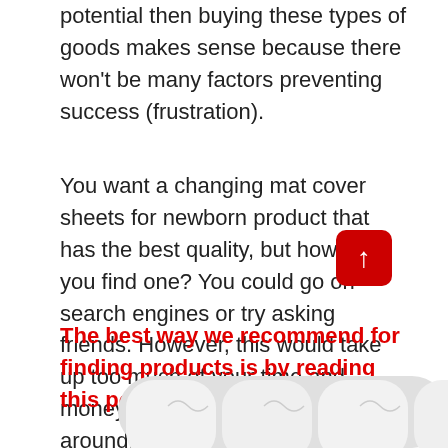potential then buying these types of goods makes sense because there won't be many factors preventing success (frustration).
You want a changing mat cover sheets for newborn product that has the best quality, but how do you find one? You could go on search engines or try asking friends. However, this would take up too much of your time and money when there are other ways around!
The best way we recommend for finding products is by reading this post here!
[Figure (photo): Scroll-to-top button (red rounded square with upward arrow) and a row of white changing mat covers visible at the bottom of the page]